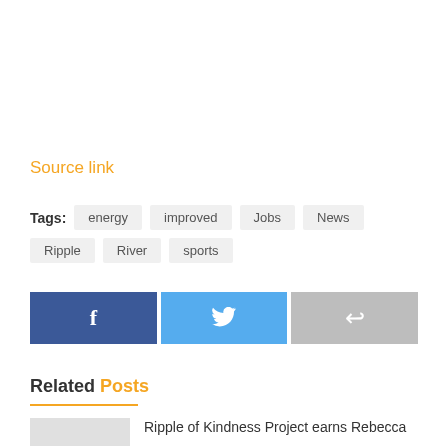Source link
Tags: energy improved Jobs News Ripple River sports
[Figure (other): Share buttons: Facebook (blue), Twitter (light blue), Share (gray)]
Related Posts
Ripple of Kindness Project earns Rebecca